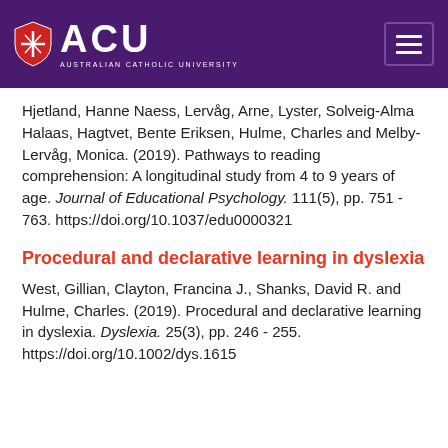ACU - Australian Catholic University
Hjetland, Hanne Naess, Lervåg, Arne, Lyster, Solveig-Alma Halaas, Hagtvet, Bente Eriksen, Hulme, Charles and Melby-Lervåg, Monica. (2019). Pathways to reading comprehension: A longitudinal study from 4 to 9 years of age. Journal of Educational Psychology. 111(5), pp. 751 - 763. https://doi.org/10.1037/edu0000321
Procedural and declarative learning in dyslexia
West, Gillian, Clayton, Francina J., Shanks, David R. and Hulme, Charles. (2019). Procedural and declarative learning in dyslexia. Dyslexia. 25(3), pp. 246 - 255. https://doi.org/10.1002/dys.1615